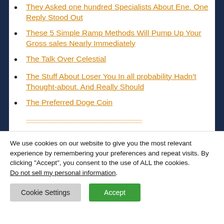They Asked one hundred Specialists About Ene. One Reply Stood Out
These 5 Simple Ramp Methods Will Pump Up Your Gross sales Nearly Immediately
The Talk Over Celestial
The Stuff About Loser You In all probability Hadn't Thought-about. And Really Should
The Preferred Doge Coin
We use cookies on our website to give you the most relevant experience by remembering your preferences and repeat visits. By clicking “Accept”, you consent to the use of ALL the cookies. Do not sell my personal information.